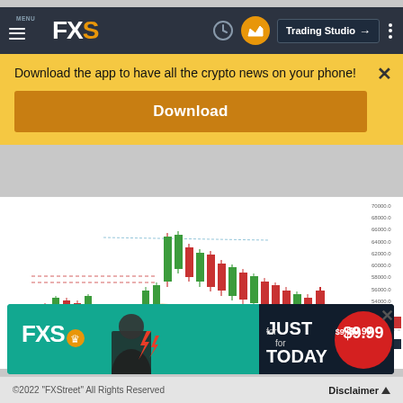FXS — FXStreet navigation bar with Trading Studio button
Download the app to have all the crypto news on your phone!
Download
[Figure (continuous-plot): Cryptocurrency candlestick chart showing price action with a sharp drop and recovery, including moving averages and support/resistance lines. Y-axis shows price levels, various colored lines (orange, teal, dotted) overlay the candlesticks.]
[Figure (infographic): FXS advertisement banner: 'FXS JUST for TODAY $9.99' promotional ad with teal/dark background and red price badge.]
©2022 "FXStreet" All Rights Reserved   Disclaimer ▲